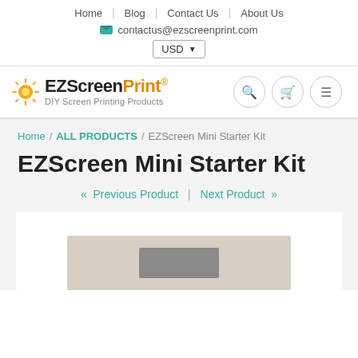Home | Blog | Contact Us | About Us
contactus@ezscreenprint.com
USD
[Figure (logo): EZScreenPrint logo with sun icon and tagline 'DIY Screen Printing Products']
Breadcrumb: Home / ALL PRODUCTS / EZScreen Mini Starter Kit
EZScreen Mini Starter Kit
« Previous Product | Next Product »
[Figure (photo): Product photo of EZScreen Mini Starter Kit box, partially visible at bottom of page]